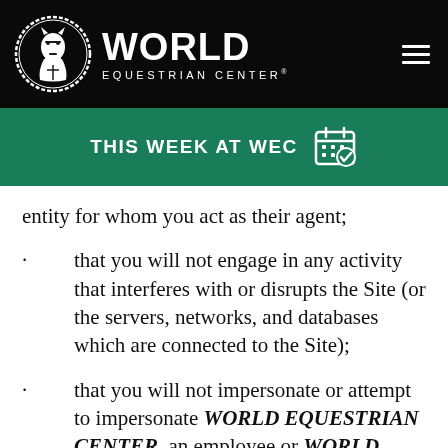[Figure (logo): World Equestrian Center logo with horse head in circle and navigation hamburger menu on black header background]
THIS WEEK AT WEC
entity for whom you act as their agent;
that you will not engage in any activity that interferes with or disrupts the Site (or the servers, networks, and databases which are connected to the Site);
that you will not impersonate or attempt to impersonate WORLD EQUESTRIAN CENTER, an employee or WORLD EQUESTRIAN CENTER, another